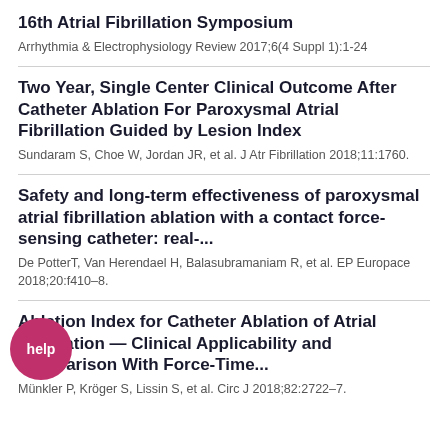16th Atrial Fibrillation Symposium
Arrhythmia & Electrophysiology Review 2017;6(4 Suppl 1):1-24
Two Year, Single Center Clinical Outcome After Catheter Ablation For Paroxysmal Atrial Fibrillation Guided by Lesion Index
Sundaram S, Choe W, Jordan JR, et al. J Atr Fibrillation 2018;11:1760.
Safety and long-term effectiveness of paroxysmal atrial fibrillation ablation with a contact force-sensing catheter: real-...
De PotterT, Van Herendael H, Balasubramaniam R, et al. EP Europace 2018;20:f410–8.
Ablation Index for Catheter Ablation of Atrial Fibrillation — Clinical Applicability and Comparison With Force-Time...
Münkler P, Kröger S, Lissin S, et al. Circ J 2018;82:2722–7.